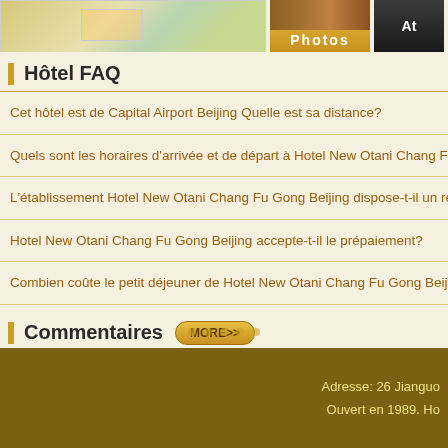[Figure (screenshot): Map thumbnail cropped at top left]
[Figure (photo): Photos button with hotel image background]
[Figure (other): Partially visible button labeled 'At']
Hôtel FAQ
Cet hôtel est de Capital Airport Beijing Quelle est sa distance?
Quels sont les horaires d'arrivée et de départ à Hotel New Otani Chang Fu Gon
L'établissement Hotel New Otani Chang Fu Gong Beijing dispose-t-il un restau
Hotel New Otani Chang Fu Gong Beijing accepte-t-il le prépaiement?
Combien coûte le petit déjeuner de Hotel New Otani Chang Fu Gong Beijing?
Commentaires
Adresse: 26 Jianguo
Ouvert en 1989. Ho